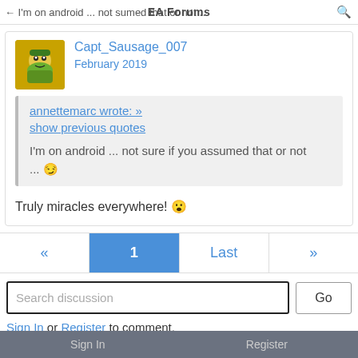EA Forums
Capt_Sausage_007
February 2019
annettemarc wrote: » show previous quotes
I'm on android ... not sure if you assumed that or not ... 😏
Truly miracles everywhere! 😮
« 1 Last »
Search discussion
Go
Sign In or Register to comment.
Sign In   Register